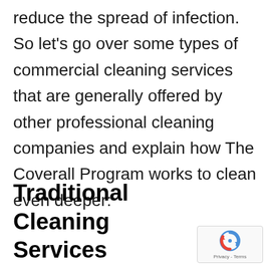reduce the spread of infection. So let's go over some types of commercial cleaning services that are generally offered by other professional cleaning companies and explain how The Coverall Program works to clean even deeper:
Traditional Cleaning Services
[Figure (logo): Google reCAPTCHA badge with rotating arrows icon and Privacy - Terms text]